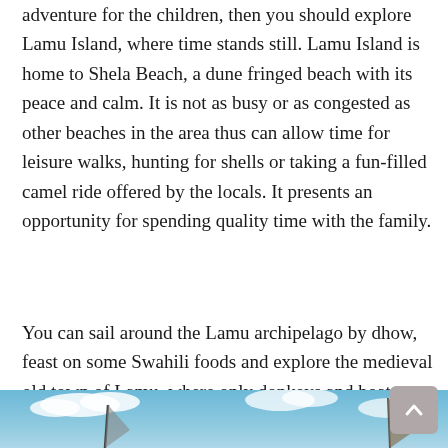adventure for the children, then you should explore Lamu Island, where time stands still. Lamu Island is home to Shela Beach, a dune fringed beach with its peace and calm. It is not as busy or as congested as other beaches in the area thus can allow time for leisure walks, hunting for shells or taking a fun-filled camel ride offered by the locals. It presents an opportunity for spending quality time with the family.
You can sail around the Lamu archipelago by dhow, feast on some Swahili foods and explore the medieval old town of Lamu, where only donkeys and boats are used for transportation.
[Figure (photo): Photo showing sail masts against a blue sky with clouds, likely a dhow boat scene at Lamu]